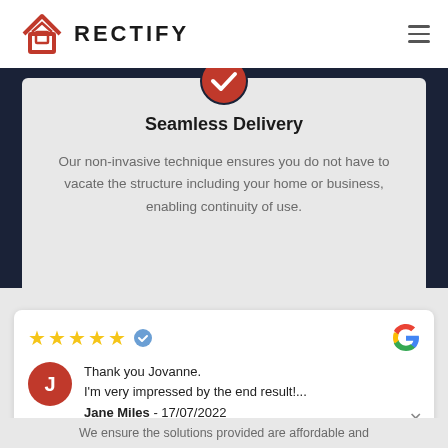RECTIFY
Seamless Delivery
Our non-invasive technique ensures you do not have to vacate the structure including your home or business, enabling continuity of use.
Thank you Jovanne.
I'm very impressed by the end result!...
Jane Miles - 17/07/2022
We ensure the solutions provided are affordable and